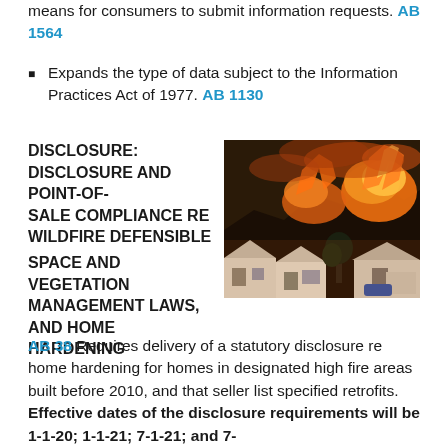means for consumers to submit information requests. AB 1564
Expands the type of data subject to the Information Practices Act of 1977. AB 1130
DISCLOSURE: DISCLOSURE AND POINT-OF-SALE COMPLIANCE RE WILDFIRE DEFENSIBLE SPACE AND VEGETATION MANAGEMENT LAWS, AND HOME HARDENING
[Figure (photo): Photograph of a large wildfire burning on a hillside above residential homes. Intense orange and red flames and smoke are visible engulfing the hillside behind white suburban houses.]
AB 38 Requires delivery of a statutory disclosure re home hardening for homes in designated high fire areas built before 2010, and that seller list specified retrofits. Effective dates of the disclosure requirements will be 1-1-20; 1-1-21; 7-1-21; and 7-1-??...